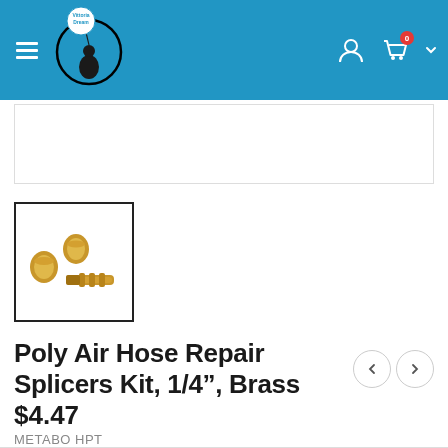[Figure (logo): Vittoria Dream shop logo: girl with balloon on moon, blue header with hamburger menu, user icon, cart with badge 0]
[Figure (photo): Thumbnail image of brass poly air hose repair splicers kit pieces]
Poly Air Hose Repair Splicers Kit, 1/4", Brass
$4.47
METABO HPT